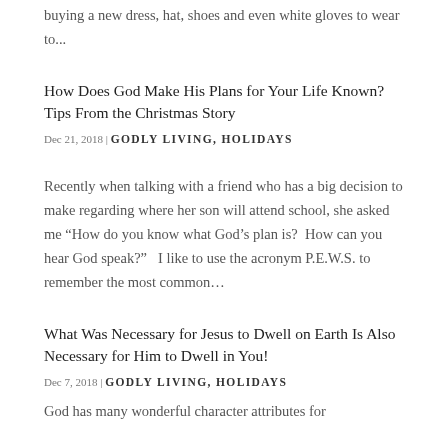buying a new dress, hat, shoes and even white gloves to wear to...
How Does God Make His Plans for Your Life Known? Tips From the Christmas Story
Dec 21, 2018 | GODLY LIVING, HOLIDAYS
Recently when talking with a friend who has a big decision to make regarding where her son will attend school, she asked me “How do you know what God’s plan is?  How can you hear God speak?”   I like to use the acronym P.E.W.S. to remember the most common…
What Was Necessary for Jesus to Dwell on Earth Is Also Necessary for Him to Dwell in You!
Dec 7, 2018 | GODLY LIVING, HOLIDAYS
God has many wonderful character attributes for